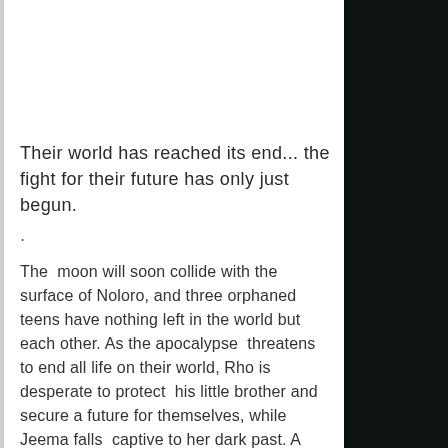Their world has reached its end... the fight for their future has only just begun.
·
The moon will soon collide with the surface of Noloro, and three orphaned teens have nothing left in the world but each other. As the apocalypse threatens to end all life on their world, Rho is desperate to protect his little brother and secure a future for themselves, while Jeema falls captive to her dark past. A sardonic traveling magician offers them a way off their dying world, but at what cost? Their search for an escape will force them to face